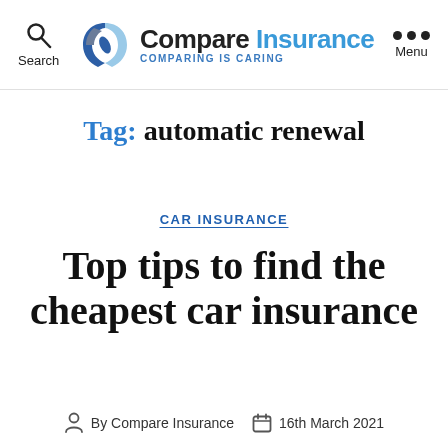Search | Compare Insurance COMPARING IS CARING | Menu
Tag: automatic renewal
CAR INSURANCE
Top tips to find the cheapest car insurance
By Compare Insurance   16th March 2021